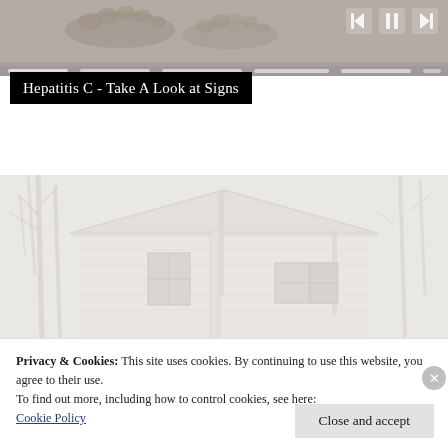[Figure (screenshot): Top portion of a video player showing feet/toes at top left, dark gray background, playback controls (previous, pause/play, next) at top right, and a progress bar with multiple segments below.]
Hepatitis C - Take A Look at Signs
[Figure (photo): A misty/foggy photo of a white clapboard house with bare winter trees in the background. The image is very washed out and pale.]
Privacy & Cookies: This site uses cookies. By continuing to use this website, you agree to their use.
To find out more, including how to control cookies, see here:
Cookie Policy
Close and accept